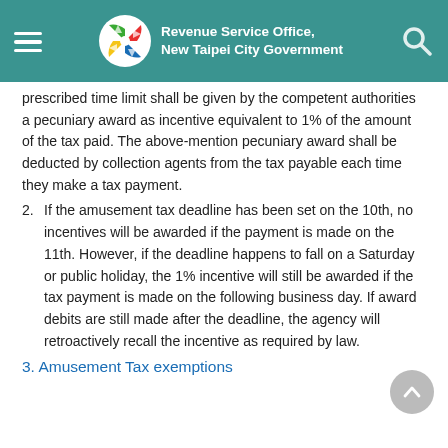Revenue Service Office, New Taipei City Government
prescribed time limit shall be given by the competent authorities a pecuniary award as incentive equivalent to 1% of the amount of the tax paid. The above-mention pecuniary award shall be deducted by collection agents from the tax payable each time they make a tax payment.
2. If the amusement tax deadline has been set on the 10th, no incentives will be awarded if the payment is made on the 11th. However, if the deadline happens to fall on a Saturday or public holiday, the 1% incentive will still be awarded if the tax payment is made on the following business day. If award debits are still made after the deadline, the agency will retroactively recall the incentive as required by law.
3. Amusement Tax exemptions